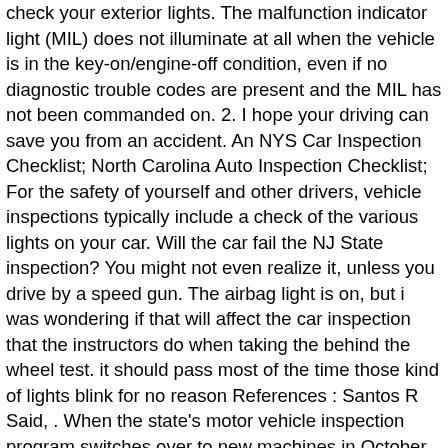check your exterior lights. The malfunction indicator light (MIL) does not illuminate at all when the vehicle is in the key-on/engine-off condition, even if no diagnostic trouble codes are present and the MIL has not been commanded on. 2. I hope your driving can save you from an accident. An NYS Car Inspection Checklist; North Carolina Auto Inspection Checklist; For the safety of yourself and other drivers, vehicle inspections typically include a check of the various lights on your car. Will the car fail the NJ State inspection? You might not even realize it, unless you drive by a speed gun. The airbag light is on, but i was wondering if that will affect the car inspection that the instructors do when taking the behind the wheel test. it should pass most of the time those kind of lights blink for no reason References : Santos R Said, . When the state's motor vehicle inspection program switches over to new machines in October, it'll still cost $35 to get a sticker on your car. Just wondering if anyone else has gotten any pushback from an inspector for the airbag light being on. Just need your car to pass … You will fail most inspections if they are illuminated. Location: North. When newcomers - or used-car owners - start looking for someone to perform the safety inspection, it's natural to wonder: will my car pass a safety inspection? Often a missing or broken fuse will trigger the light.